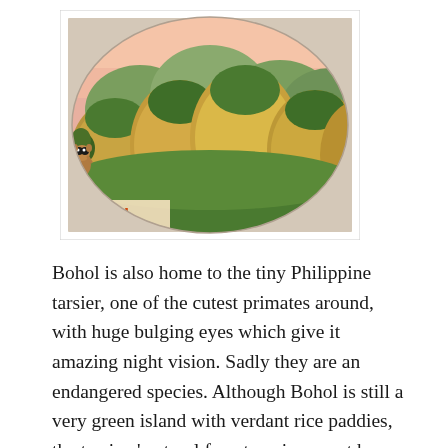[Figure (illustration): An oval/elliptical illustration showing the Chocolate Hills of Bohol in the Philippines — numerous round cone-shaped brown hills covered with greenery, a tarsier clinging to a tree on the left, pink sky at the top, and 'BOHOL' text in orange at the bottom left. The illustration is framed within a white rectangular border.]
Bohol is also home to the tiny Philippine tarsier, one of the cutest primates around, with huge bulging eyes which give it amazing night vision. Sadly they are an endangered species. Although Bohol is still a very green island with verdant rice paddies,  the tarsiers' natural forest environment has virtually disappeared and their numbers are restricted to a couple of small reserves where they are kept...